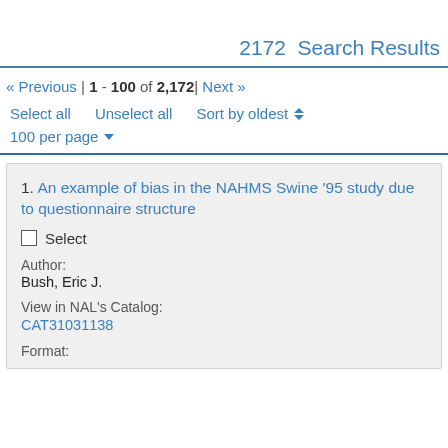2172  Search Results
« Previous | 1 - 100 of 2,172 | Next »
Select all   Unselect all   Sort by oldest
100 per page
1. An example of bias in the NAHMS Swine '95 study due to questionnaire structure
Select
Author:
Bush, Eric J.
View in NAL's Catalog:
CAT31031138
Format: